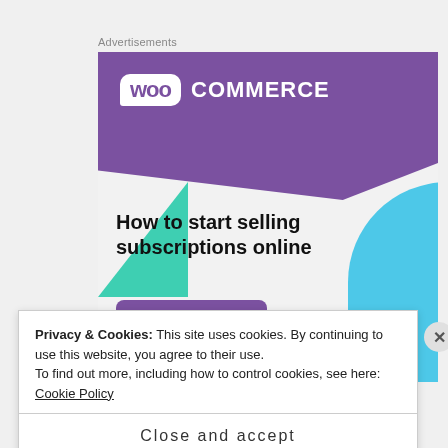Advertisements
[Figure (illustration): WooCommerce advertisement banner. Purple top section with WooCommerce logo (white bubble with 'woo' in purple text, 'COMMERCE' in white caps). Teal triangle shape bottom-left, blue quarter-circle bottom-right. Headline: 'How to start selling subscriptions online'. Purple button: 'Start a new store'.]
Privacy & Cookies: This site uses cookies. By continuing to use this website, you agree to their use.
To find out more, including how to control cookies, see here: Cookie Policy
Close and accept